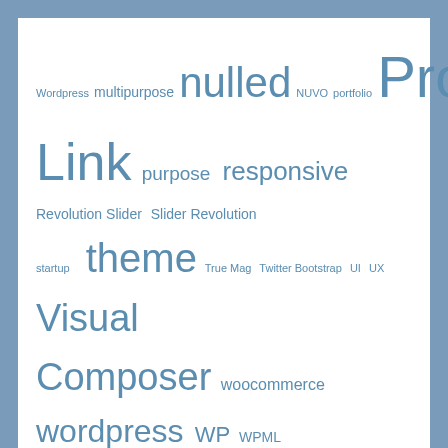[Figure (infographic): Tag cloud with WordPress-related terms in varying sizes and blue color. Terms include: Wordpress, multipurpose, nulled, NUVO, portfolio, Product, Link, purpose, responsive, Revolution Slider, Slider Revolution, startup, theme, True Mag, Twitter Bootstrap, UI, UX, Visual Composer, woocommerce, wordpress, WP, WPML, Yoast Seo]
Archives
April 2021
March 2021
February 2021
August 2017
July 2017
June 2017
May 2017